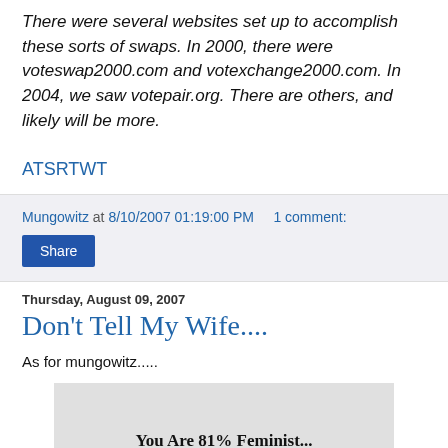There were several websites set up to accomplish these sorts of swaps. In 2000, there were voteswap2000.com and votexchange2000.com. In 2004, we saw votepair.org. There are others, and likely will be more.
ATSRTWT
Mungowitz at 8/10/2007 01:19:00 PM    1 comment:
Share
Thursday, August 09, 2007
Don't Tell My Wife....
As for mungowitz.....
[Figure (infographic): Light gray image box with partial text visible at bottom reading 'You Are 81% Feminist']